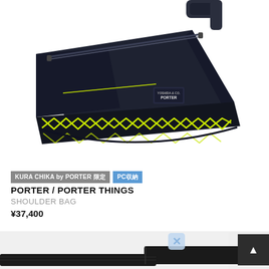[Figure (photo): Dark navy blue shoulder bag / messenger bag with bright yellow-green (neon) zipper and stitching details. The bag features a PORTER label patch on the front, diagonal main zipper across the top, and decorative neon stitching along the bottom edge. Shoulder strap visible at top right.]
KURA CHIKA by PORTER 限定　PC収納
PORTER / PORTER THINGS
SHOULDER BAG
¥37,400
[Figure (photo): Close-up partial view of dark black bag strap hardware — showing black webbing strap with metal ring/clasp detail against white background. Includes a close button overlay and scroll-to-top button.]